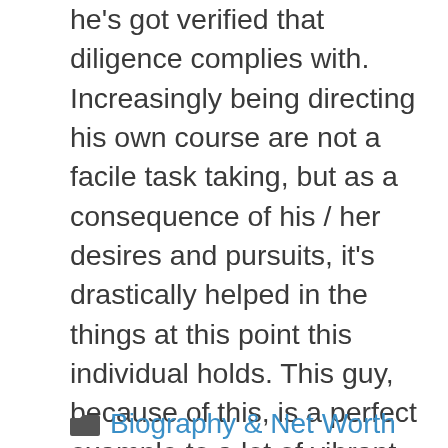he's got verified that diligence complies with. Increasingly being directing his own course are not a facile task taking, but as a consequence of his / her desires and pursuits, it's drastically helped in the things at this point this individual holds. This guy, because of this, is a perfect example to a lot of vibrant hardworking citizenry, and that is really notable when he it not just profitable but and even he's an achiever history to another person.
Biography & Net Worth